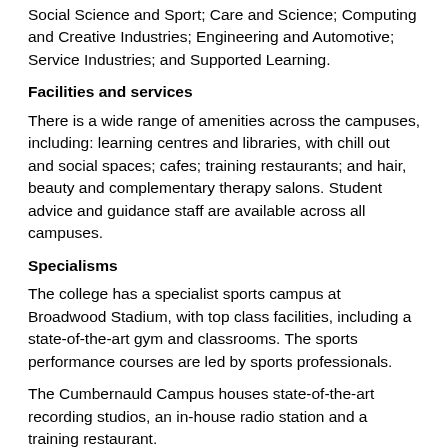Social Science and Sport; Care and Science; Computing and Creative Industries; Engineering and Automotive; Service Industries; and Supported Learning.
Facilities and services
There is a wide range of amenities across the campuses, including: learning centres and libraries, with chill out and social spaces; cafes; training restaurants; and hair, beauty and complementary therapy salons. Student advice and guidance staff are available across all campuses.
Specialisms
The college has a specialist sports campus at Broadwood Stadium, with top class facilities, including a state-of-the-art gym and classrooms. The sports performance courses are led by sports professionals.
The Cumbernauld Campus houses state-of-the-art recording studios, an in-house radio station and a training restaurant.
The Coatbridge Campus has modern hairdressing